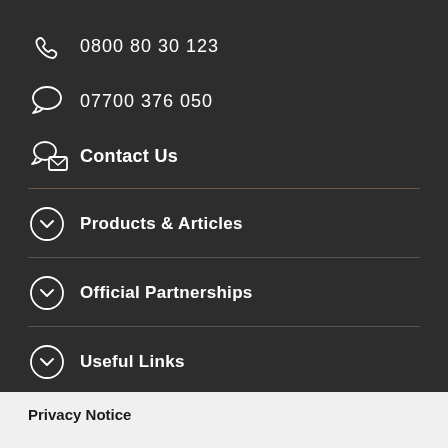0800 80 30 123
07700 376 050
Contact Us
Products & Articles
Official Partnerships
Useful Links
Privacy Notice